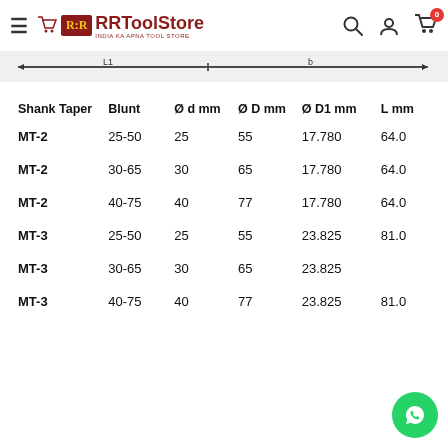RRToolStore — India Ka Apna Tool Store
[Figure (schematic): Technical diagram showing dimensional annotations (L1, L2 labels) of a tool shank — horizontal line with measurement arrows]
| Shank Taper | Blunt | Ø d mm | Ø D mm | Ø D1 mm | L mm |
| --- | --- | --- | --- | --- | --- |
| MT-2 | 25-50 | 25 | 55 | 17.780 | 64.0 |
| MT-2 | 30-65 | 30 | 65 | 17.780 | 64.0 |
| MT-2 | 40-75 | 40 | 77 | 17.780 | 64.0 |
| MT-3 | 25-50 | 25 | 55 | 23.825 | 81.0 |
| MT-3 | 30-65 | 30 | 65 | 23.825 |  |
| MT-3 | 40-75 | 40 | 77 | 23.825 | 81.0 |